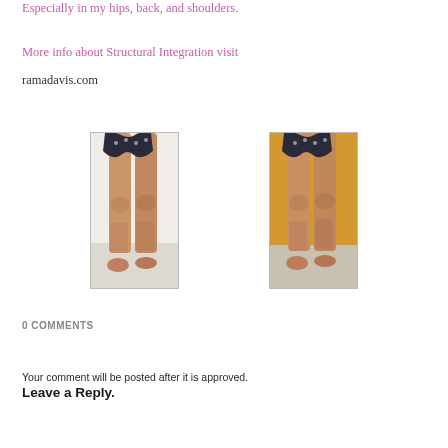Especially in my hips, back, and shoulders.
More info about Structural Integration visit ramadavis.com
[Figure (photo): Before photo: front view of a person's legs from hips to feet, standing straight, wearing a patterned bikini bottom, photographed against a white/light background]
[Figure (photo): After photo: front view of a person's legs from hips to feet, standing straight, wearing a patterned bikini bottom, photographed against an orange/yellow wall background]
0 Comments
Your comment will be posted after it is approved.
Leave a Reply.